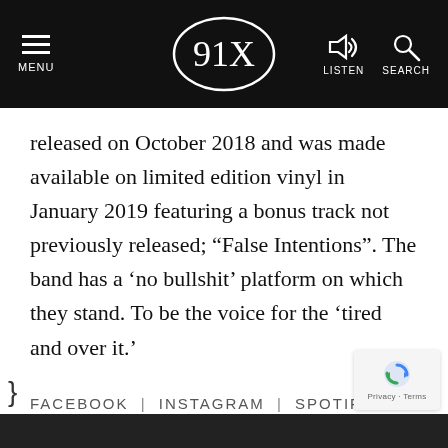MENU | 91X logo | LISTEN | SEARCH
released on October 2018 and was made available on limited edition vinyl in January 2019 featuring a bonus track not previously released; “False Intentions”. The band has a ‘no bullshit’ platform on which they stand. To be the voice for the ‘tired and over it.’
FACEBOOK | INSTAGRAM | SPOTIFY